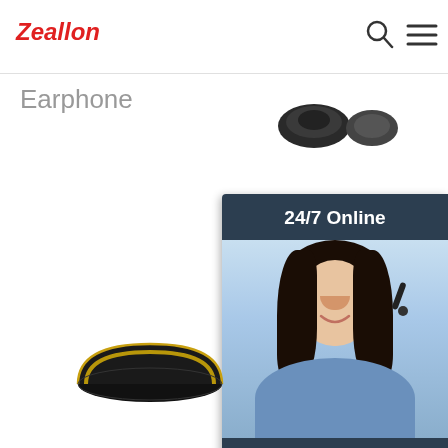Zeallon
Earphone
[Figure (screenshot): Partial product images of earphones/headsets in top right area]
[Figure (infographic): Chat widget showing 24/7 Online support with photo of woman wearing headset, Click here for free chat text, and QUOTATION button]
Charging Bo
Wireless Ear
[Figure (photo): Partial view of a round dark-colored audio product (earphone charging case or headphone dome) at bottom left]